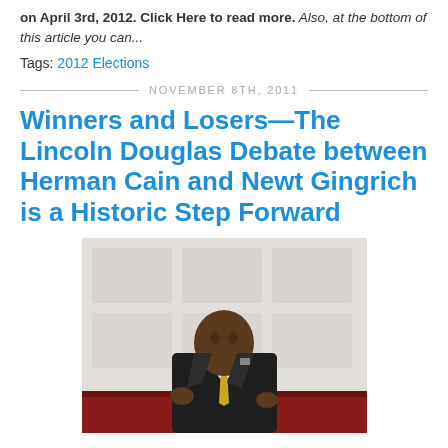on April 3rd, 2012. Click Here to read more. Also, at the bottom of this article you can...
Tags: 2012 Elections
NOVEMBER 8TH, 2011
Winners and Losers—The Lincoln Douglas Debate between Herman Cain and Newt Gingrich is a Historic Step Forward
[Figure (photo): A man in a dark suit with yellow tie seated at a table, speaking or gesturing, with a banner/backdrop visible in the background.]